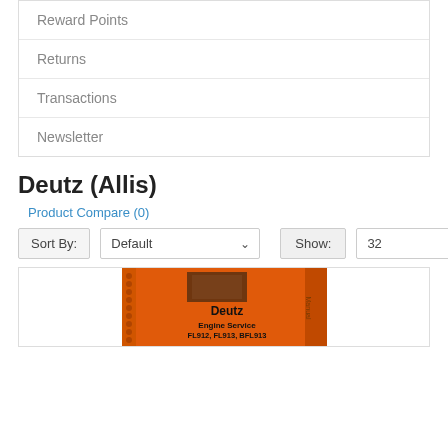Reward Points
Returns
Transactions
Newsletter
Deutz (Allis)
Product Compare (0)
Sort By: Default    Show: 32
[Figure (photo): Orange Deutz Engine Service Manual cover for FL912, FL913, BFL913 with spiral binding on left side]